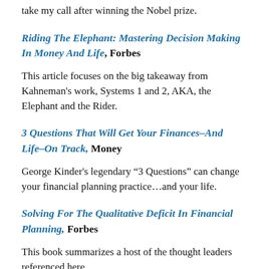take my call after winning the Nobel prize.
Riding The Elephant: Mastering Decision Making In Money And Life, Forbes
This article focuses on the big takeaway from Kahneman's work, Systems 1 and 2, AKA, the Elephant and the Rider.
3 Questions That Will Get Your Finances–And Life–On Track, Money
George Kinder's legendary “3 Questions” can change your financial planning practice…and your life.
Solving For The Qualitative Deficit In Financial Planning, Forbes
This book summarizes a host of the thought leaders referenced here.